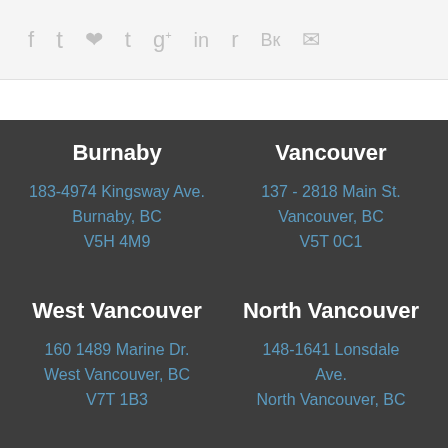[Figure (other): Social media sharing icons: Facebook, Twitter, Pinterest, Tumblr, Google+, LinkedIn, Reddit, VK, Email]
Burnaby
183-4974 Kingsway Ave.
Burnaby, BC
V5H 4M9
Vancouver
137 - 2818 Main St.
Vancouver, BC
V5T 0C1
West Vancouver
160 1489 Marine Dr.
West Vancouver, BC
V7T 1B3
North Vancouver
148-1641 Lonsdale Ave.
North Vancouver, BC